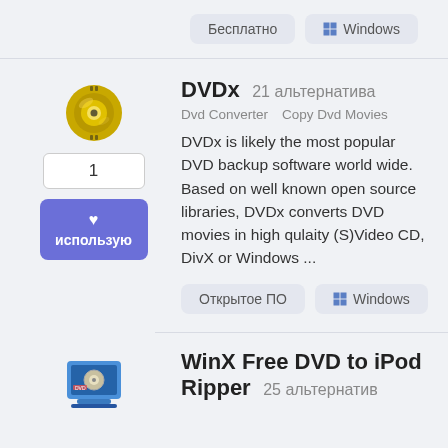Бесплатно
Windows
DVDx  21 альтернатива
Dvd Converter   Copy Dvd Movies
DVDx is likely the most popular DVD backup software world wide. Based on well known open source libraries, DVDx converts DVD movies in high qulaity (S)Video CD, DivX or Windows ...
Открытое ПО
Windows
WinX Free DVD to iPod Ripper  25 альтернатив